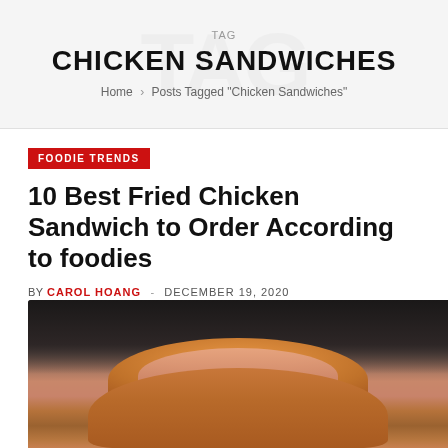TAG
CHICKEN SANDWICHES
Home > Posts Tagged "Chicken Sandwiches"
FOODIE TRENDS
10 Best Fried Chicken Sandwich to Order According to foodies
BY CAROL HOANG - DECEMBER 19, 2020
[Figure (photo): A hand holding a fried chicken sandwich (burger bun) against a dark blurred background]